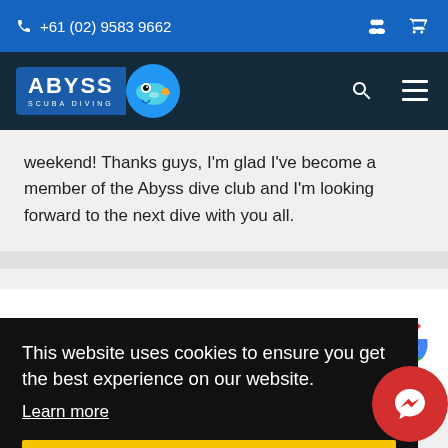+61 (02) 9583 9662
[Figure (logo): Abyss Scuba Diving logo with blue text box and fish mascot]
weekend! Thanks guys, I'm glad I've become a member of the Abyss dive club and I'm looking forward to the next dive with you all.
This website uses cookies to ensure you get the best experience on our website.
Learn more
Got it!
advice on my underwater camera, the Abyss